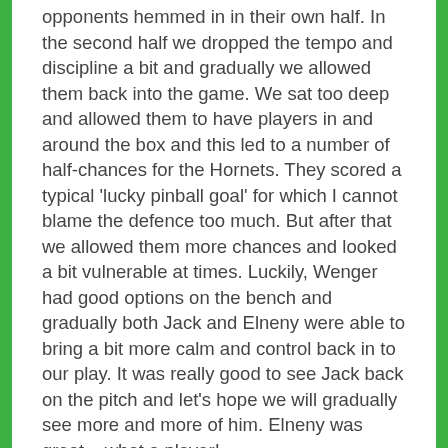opponents hemmed in in their own half. In the second half we dropped the tempo and discipline a bit and gradually we allowed them back into the game. We sat too deep and allowed them to have players in and around the box and this led to a number of half-chances for the Hornets. They scored a typical 'lucky pinball goal' for which I cannot blame the defence too much. But after that we allowed them more chances and looked a bit vulnerable at times. Luckily, Wenger had good options on the bench and gradually both Jack and Elneny were able to bring a bit more calm and control back in to our play. It was really good to see Jack back on the pitch and let's hope we will gradually see more and more of him. Elneny was great – what a player!
6. Cech was solid. He made some good instinctive saves and oozed confidence and